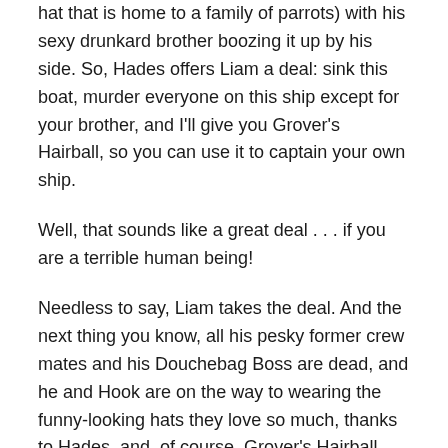hat that is home to a family of parrots) with his sexy drunkard brother boozing it up by his side. So, Hades offers Liam a deal: sink this boat, murder everyone on this ship except for your brother, and I'll give you Grover's Hairball, so you can use it to captain your own ship.
Well, that sounds like a great deal . . . if you are a terrible human being!
Needless to say, Liam takes the deal. And the next thing you know, all his pesky former crew mates and his Douchebag Boss are dead, and he and Hook are on the way to wearing the funny-looking hats they love so much, thanks to Hades, and, of course, Grover's Hairball.
[Figure (illustration): Broken image placeholder with alt text 'grover hairball']